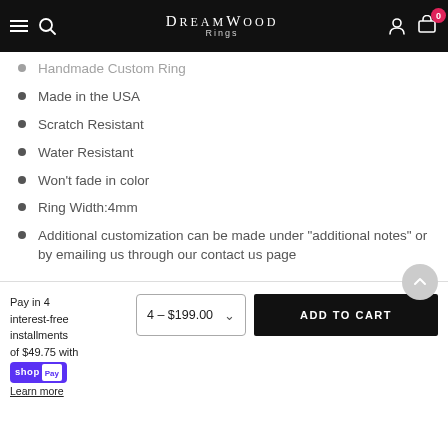DreamWood Rings — navigation bar with menu, search, logo, account, cart (0)
Handmade Custom Ring
Made in the USA
Scratch Resistant
Water Resistant
Won't fade in color
Ring Width:4mm
Additional customization can be made under "additional notes" or by emailing us through our contact us page
Pay in 4 interest-free installments of $49.75 with Shop Pay
Learn more
4 – $199.00
ADD TO CART